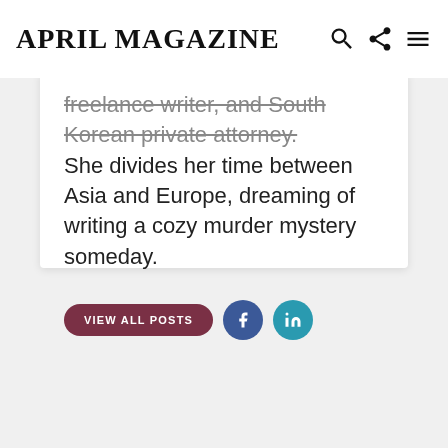APRIL MAGAZINE
freelance writer, and South Korean private attorney. She divides her time between Asia and Europe, dreaming of writing a cozy murder mystery someday.
[Figure (other): VIEW ALL POSTS button and social media icons (Facebook, LinkedIn)]